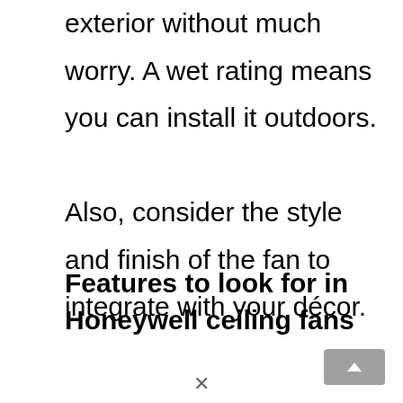dew, or condensation on the motor exterior without much worry. A wet rating means you can install it outdoors.
Also, consider the style and finish of the fan to integrate with your décor.
Features to look for in Honeywell ceiling fans